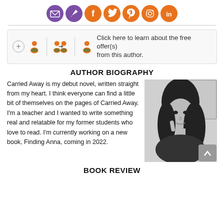[Figure (infographic): Row of social media icon buttons: email (envelope), share, Facebook, Twitter, Pinterest, Instagram, LinkedIn — all circular, purple and orange]
[Figure (infographic): Follow bar with plus circle icon, two reader/author emoji icons separated by vertical dividers, and text: Click here to learn about the free offer(s) from this author.]
AUTHOR BIOGRAPHY
Carried Away is my debut novel, written straight from my heart. I think everyone can find a little bit of themselves on the pages of Carried Away. I'm a teacher and I wanted to write something real and relatable for my former students who love to read. I'm currently working on a new book, Finding Anna, coming in 2022.
[Figure (photo): Black and white photo of a young woman with long dark hair, sitting in a car, looking at the camera with one hand raised near her face]
BOOK REVIEW